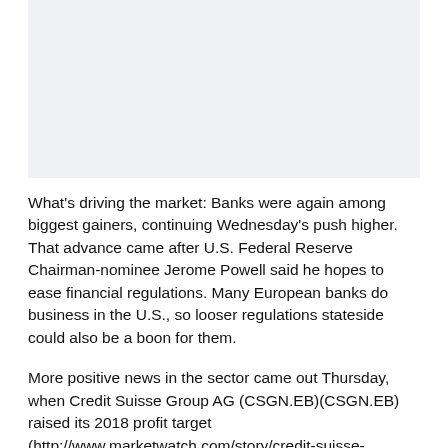[Figure (other): Image placeholder area (light gray background, content not visible)]
What's driving the market: Banks were again among biggest gainers, continuing Wednesday's push higher. That advance came after U.S. Federal Reserve Chairman-nominee Jerome Powell said he hopes to ease financial regulations. Many European banks do business in the U.S., so looser regulations stateside could also be a boon for them.
More positive news in the sector came out Thursday, when Credit Suisse Group AG (CSGN.EB)(CSGN.EB) raised its 2018 profit target (http://www.marketwatch.com/story/credit-suisse-pledges-to-return-50-of-profits-2017-11-30) for its wealth-management and connected business in Asia-Pacific. The bank also said it plans to increase returns to shareholders